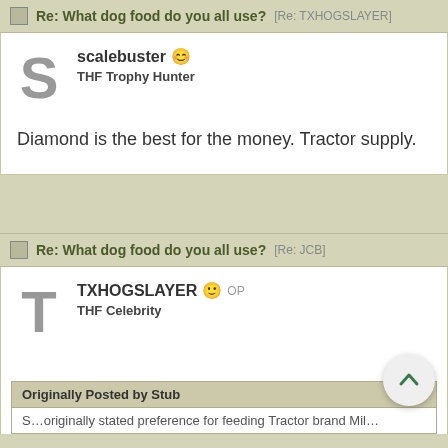Re: What dog food do you all use? [Re: TXHOGSLAYER]
scalebuster 😊
THF Trophy Hunter
Diamond is the best for the money. Tractor supply.
Re: What dog food do you all use? [Re: JCB]
TXHOGSLAYER 😐 OP
THF Celebrity
Originally Posted by Stub
S…originally stated preference for feeding Tractor brand Mil…